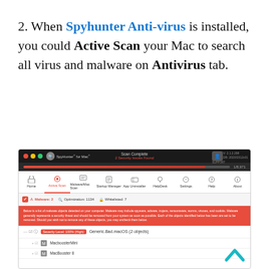2. When Spyhunter Anti-virus is installed, you could Active Scan your Mac to search all virus and malware on Antivirus tab.
[Figure (screenshot): SpyHunter for Mac application screenshot showing the Antivirus/Active Scan tab with scan results: Scan Complete, 2 Security Issues Found, Malware: 2, Optimization: 1134, Whitelisted: 7. A malware entry shows Generic.Bad.macOS (2 objects) with Severity Level 100% (High), listing MacboosterMini and MacBooster 8.]